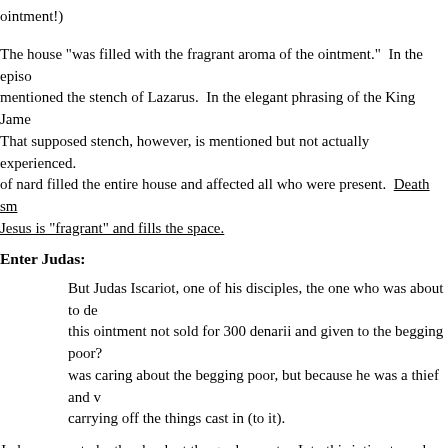ointment!)
The house "was filled with the fragrant aroma of the ointment."  In the episode mentioned the stench of Lazarus.  In the elegant phrasing of the King Jame... That supposed stench, however, is mentioned but not actually experienced. of nard filled the entire house and affected all who were present.  Death sm... Jesus is "fragrant" and fills the space.
Enter Judas:
But Judas Iscariot, one of his disciples, the one who was about to de... this ointment not sold for 300 denarii and given to the begging poor? was caring about the begging poor, but because he was a thief and v... carrying off the things cast in (to it).
Judas proves to be the skunk at the garden party.  Into this intimate and aro... expensive ointment should have been sold and the money given to the poor... words in the fourth gospel.)
Three hundred denarii would be somewhere around $20-30,000 in today's m... one level, Judas has a point.  Judas appears to have learned well from Jesu... been sold and the proceeds donated to the poor--ptochoi means destitute b... have said the same thing myself.  When told that someone had built a $10 m... consistent with that of Judas:  "Why didn't they build a $2 million house, and... Humanity?")
The fourth gospel insists...that Judas didn't really care about the...